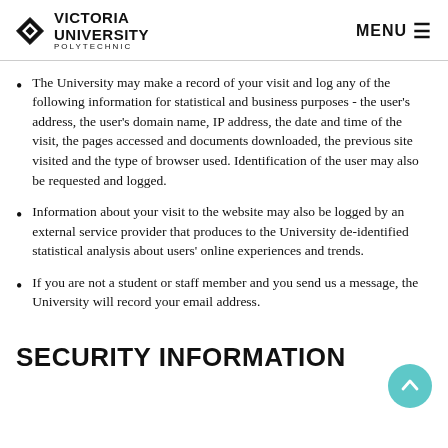VICTORIA UNIVERSITY POLYTECHNIC | MENU
The University may make a record of your visit and log any of the following information for statistical and business purposes - the user's address, the user's domain name, IP address, the date and time of the visit, the pages accessed and documents downloaded, the previous site visited and the type of browser used. Identification of the user may also be requested and logged.
Information about your visit to the website may also be logged by an external service provider that produces to the University de-identified statistical analysis about users' online experiences and trends.
If you are not a student or staff member and you send us a message, the University will record your email address.
SECURITY INFORMATION